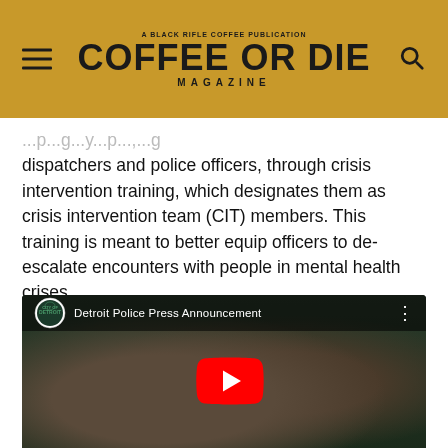COFFEE OR DIE MAGAZINE
dispatchers and police officers, through crisis intervention training, which designates them as crisis intervention team (CIT) members. This training is meant to better equip officers to de-escalate encounters with people in mental health crises.
[Figure (screenshot): YouTube video embed thumbnail showing 'Detroit Police Press Announcement' with two police officers at a podium in front of a City of Detroit backdrop. A large red YouTube play button is centered on the image.]